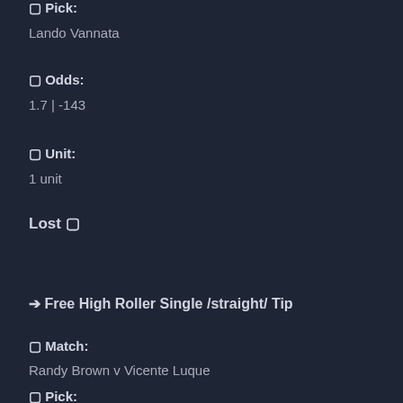🔲 Pick:
Lando Vannata
🔲 Odds:
1.7 | -143
🔲 Unit:
1 unit
Lost 🔲
➡ Free High Roller Single /straight/ Tip
🔲 Match:
Randy Brown v Vicente Luque
🔲 Pick: